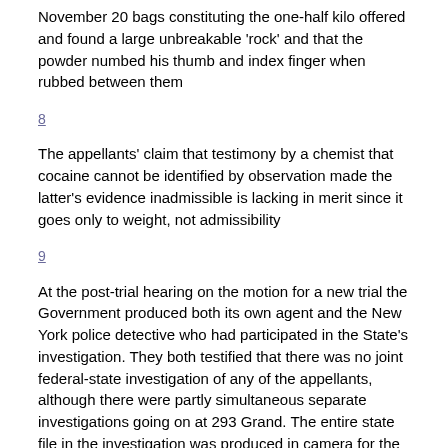November 20 bags constituting the one-half kilo offered and found a large unbreakable 'rock' and that the powder numbed his thumb and index finger when rubbed between them
8
The appellants' claim that testimony by a chemist that cocaine cannot be identified by observation made the latter's evidence inadmissible is lacking in merit since it goes only to weight, not admissibility
9
At the post-trial hearing on the motion for a new trial the Government produced both its own agent and the New York police detective who had participated in the State's investigation. They both testified that there was no joint federal-state investigation of any of the appellants, although there were partly simultaneous separate investigations going on at 293 Grand. The entire state file in the investigation was produced in camera for the trial court's inspection to verify that assertion
These witnesses and the Assistant United States Attorney also stated that this local police file was never in the possession of the prosecution or the federal investigators in this case. This uncontradicted evidence